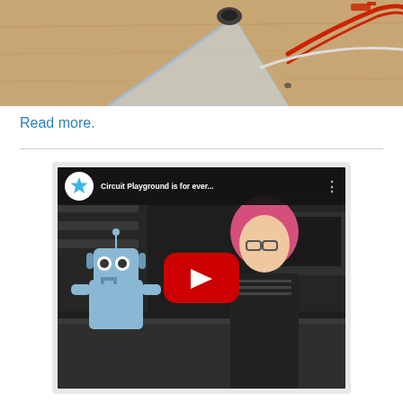[Figure (photo): Close-up photo of electronics on a wooden table: a small speaker/buzzer mounted on a transparent acrylic stand, with red and white wires connected via alligator clips]
Read more.
[Figure (screenshot): YouTube video thumbnail showing 'Circuit Playground is for ever...' with a blue star logo avatar, a pink-haired woman presenting next to a robot plush toy, with a red YouTube play button overlay]